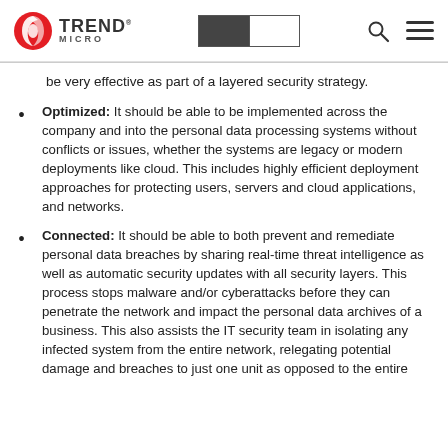Trend Micro logo and navigation header
be very effective as part of a layered security strategy.
Optimized: It should be able to be implemented across the company and into the personal data processing systems without conflicts or issues, whether the systems are legacy or modern deployments like cloud. This includes highly efficient deployment approaches for protecting users, servers and cloud applications, and networks.
Connected: It should be able to both prevent and remediate personal data breaches by sharing real-time threat intelligence as well as automatic security updates with all security layers. This process stops malware and/or cyberattacks before they can penetrate the network and impact the personal data archives of a business. This also assists the IT security team in isolating any infected system from the entire network, relegating potential damage and breaches to just one unit as opposed to the entire